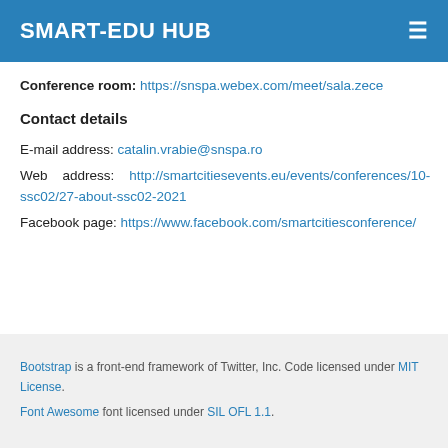SMART-EDU HUB
Conference room: https://snspa.webex.com/meet/sala.zece
Contact details
E-mail address: catalin.vrabie@snspa.ro
Web address: http://smartcitiesevents.eu/events/conferences/10-ssc02/27-about-ssc02-2021
Facebook page: https://www.facebook.com/smartcitiesconference/
Bootstrap is a front-end framework of Twitter, Inc. Code licensed under MIT License. Font Awesome font licensed under SIL OFL 1.1.